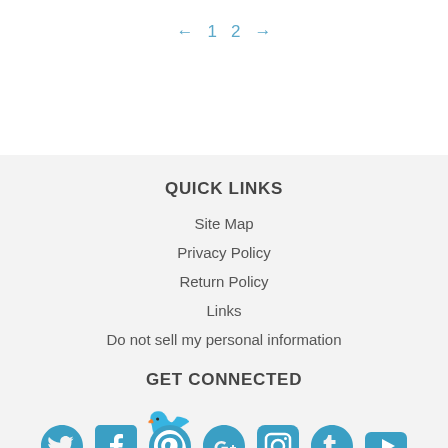← 1 2 →
QUICK LINKS
Site Map
Privacy Policy
Return Policy
Links
Do not sell my personal information
GET CONNECTED
[Figure (illustration): Row of social media icons: Twitter, Facebook, Pinterest, Google+, Instagram, Tumblr, YouTube]